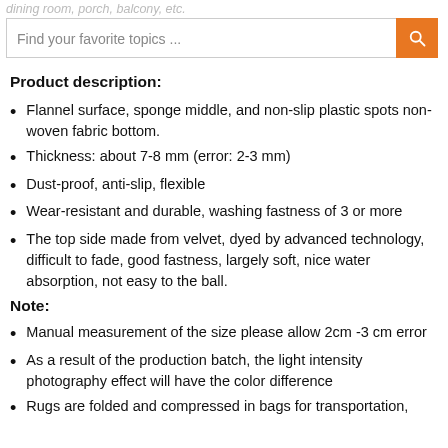dining room, porch, balcony, etc.
Find your favorite topics ...
Product description:
Flannel surface, sponge middle, and non-slip plastic spots non-woven fabric bottom.
Thickness: about 7-8 mm (error: 2-3 mm)
Dust-proof, anti-slip, flexible
Wear-resistant and durable, washing fastness of 3 or more
The top side made from velvet, dyed by advanced technology, difficult to fade, good fastness, largely soft, nice water absorption, not easy to the ball.
Note:
Manual measurement of the size please allow 2cm -3 cm error
As a result of the production batch, the light intensity photography effect will have the color difference
Rugs are folded and compressed in bags for transportation,